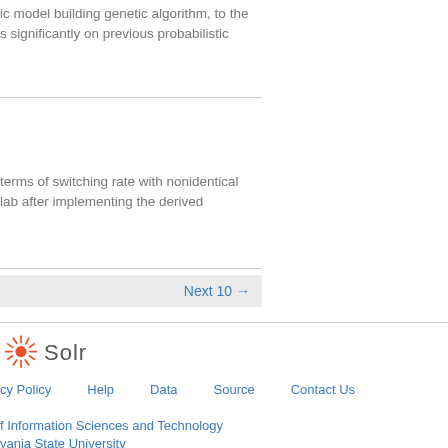ic model building genetic algorithm, to the
s significantly on previous probabilistic
terms of switching rate with nonidentical
lab after implementing the derived
Next 10 →
[Figure (logo): Solr logo with sun/burst icon]
cy Policy   Help   Data   Source   Contact Us
f Information Sciences and Technology
vania State University